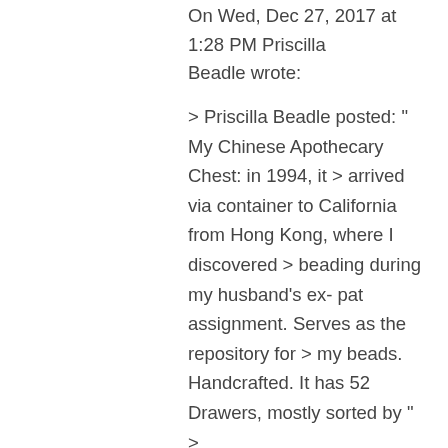On Wed, Dec 27, 2017 at 1:28 PM Priscilla Beadle wrote:
> Priscilla Beadle posted: " My Chinese Apothecary Chest: in 1994, it > arrived via container to California from Hong Kong, where I discovered > beading during my husband's ex-pat assignment. Serves as the repository for > my beads. Handcrafted. It has 52 Drawers, mostly sorted by " >
↳ Reply
Theresa on December 28, 2017 at 7:18 am
My Dear Friend,
We all know you have panache in spades, but this piece leaves no doubt! It is like the big